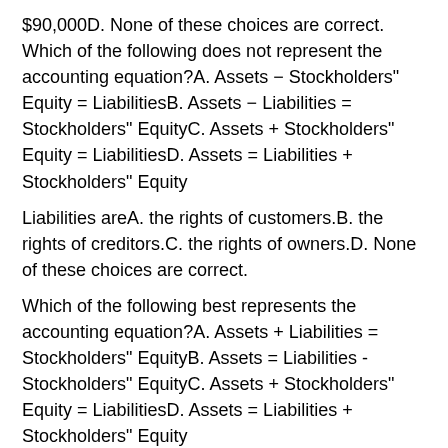$90,000D. None of these choices are correct. Which of the following does not represent the accounting equation?A. Assets − Stockholders" Equity = LiabilitiesB. Assets − Liabilities = Stockholders" EquityC. Assets + Stockholders" Equity = LiabilitiesD. Assets = Liabilities + Stockholders" Equity
Liabilities areA. the rights of customers.B. the rights of creditors.C. the rights of owners.D. None of these choices are correct.
Which of the following best represents the accounting equation?A. Assets + Liabilities = Stockholders" EquityB. Assets = Liabilities - Stockholders" EquityC. Assets + Stockholders" Equity = LiabilitiesD. Assets = Liabilities + Stockholders" Equity
Assets and liabilities of a company are $150,000 and $30,000, respectively. Determine stockholders" equity using the accounting equation.A. $150,000B